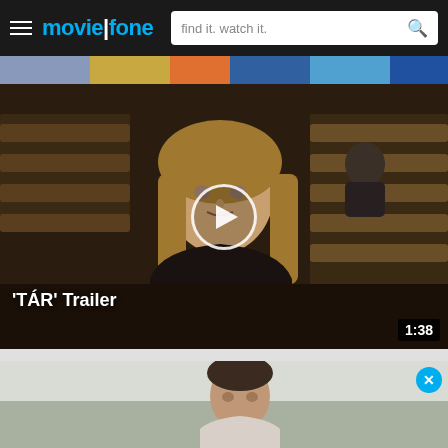moviefone — find it. watch it.
[Figure (screenshot): Moviefone website header bar with hamburger menu, logo (moviefone with pipe separator), and search field with placeholder 'find it. watch it.' and magnifying glass icon]
[Figure (screenshot): Colorful top strip image preview from a movie or TV show]
[Figure (photo): Video thumbnail showing a woman with blonde hair in a black outfit seated in an auditorium/lecture hall setting. A person is visible in the background upper right. A circular white play button overlay is centered on the image. Title overlay reads 'TÁR' Trailer. Duration badge shows 1:38 in bottom right corner.]
'TÁR' Trailer
[Figure (photo): Second video/advertisement section showing a man in a light colored environment, partially visible. Has a cyan/blue circular close (X) button in the top right corner.]